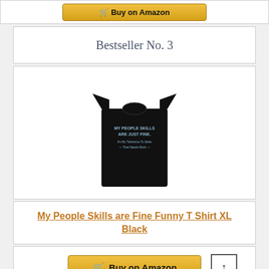[Figure (other): Partial yellow Buy on Amazon button at top of page]
Bestseller No. 3
[Figure (photo): Black t-shirt with text 'MY PEOPLE SKILLS ARE JUST FINE. It's My Tolerance To Idiots That Needs Work.']
My People Skills are Fine Funny T Shirt XL Black
[Figure (other): Buy on Amazon button with shopping cart icon]
Bestseller No. 4